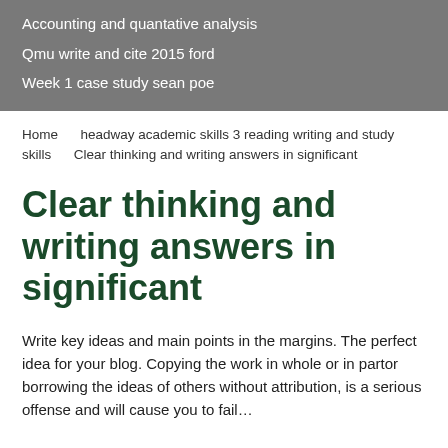Accounting and quantative analysis
Qmu write and cite 2015 ford
Week 1 case study sean poe
Home      headway academic skills 3 reading writing and study skills      Clear thinking and writing answers in significant
Clear thinking and writing answers in significant
Write key ideas and main points in the margins. The perfect idea for your blog. Copying the work in whole or in partor borrowing the ideas of others without attribution, is a serious offense and will cause you to fail...